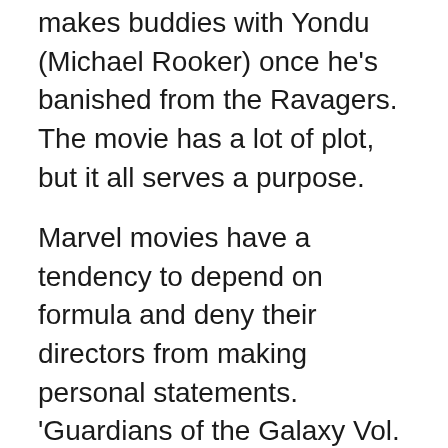makes buddies with Yondu (Michael Rooker) once he's banished from the Ravagers. The movie has a lot of plot, but it all serves a purpose.
Marvel movies have a tendency to depend on formula and deny their directors from making personal statements. 'Guardians of the Galaxy Vol. 2' proves that's not always the case, but the fact that it lacks the novelty value of the first misfit space adventure will likely ensure that most viewers won't notice. That's too bad because Gunn has clearly been allowed to do whatever the hell he wanted with this massive blockbuster sequel and delivered something unexpectedly pained and personal. Even though everything that made the first film work still appears, the core feels achingly intimate for the director. Without delving into spoilers, 'Vol. 2' packs an emotional wallop